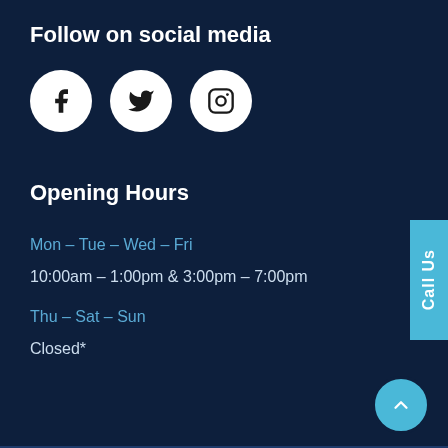Follow on social media
[Figure (illustration): Three white circular social media icon buttons: Facebook, Twitter, Instagram]
Opening Hours
Mon – Tue – Wed – Fri
10:00am – 1:00pm & 3:00pm – 7:00pm
Thu – Sat – Sun
Closed*